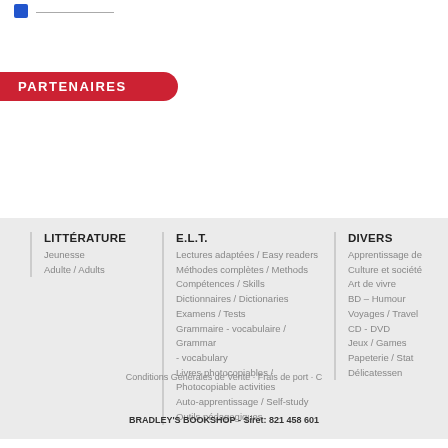PARTENAIRES
LITTÉRATURE
Jeunesse
Adulte / Adults
E.L.T.
Lectures adaptées / Easy readers
Méthodes complètes / Methods
Compétences / Skills
Dictionnaires / Dictionaries
Examens / Tests
Grammaire - vocabulaire / Grammar - vocabulary
Livres photocopiables / Photocopiable activities
Auto-apprentissage / Self-study
Outils pédagogiques
DIVERS
Apprentissage de la langue
Culture et société
Art de vivre
BD – Humour
Voyages / Travel
CD - DVD
Jeux / Games
Papeterie / Stationery
Délicatessen
Conditions Générales de Vente · Frais de port · C…
BRADLEY'S BOOKSHOP - Siret: 821 458 601…